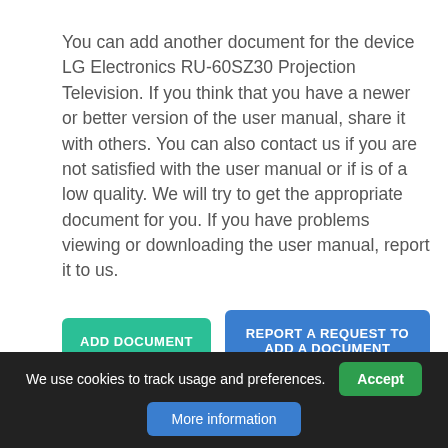You can add another document for the device LG Electronics RU-60SZ30 Projection Television. If you think that you have a newer or better version of the user manual, share it with others. You can also contact us if you are not satisfied with the user manual or if is of a low quality. We will try to get the appropriate document for you. If you have problems viewing or downloading the user manual, report it to us.
ADD DOCUMENT
REPORT A REQUEST TO ADD A DOCUMENT
REPORT A PROBLEM
We use cookies to track usage and preferences.
Accept
More information